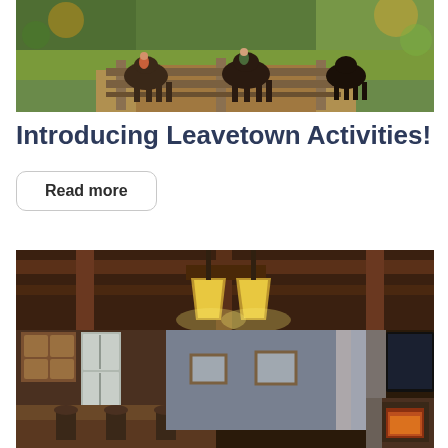[Figure (photo): Horses and riders crossing a wooden bridge in an autumn outdoor setting with green and golden foliage]
Introducing Leavetown Activities!
Read more
[Figure (photo): Interior of a lodge or vacation rental with wooden beams, pendant lights with stained glass shades, kitchen area with stainless steel appliances, and a fireplace]